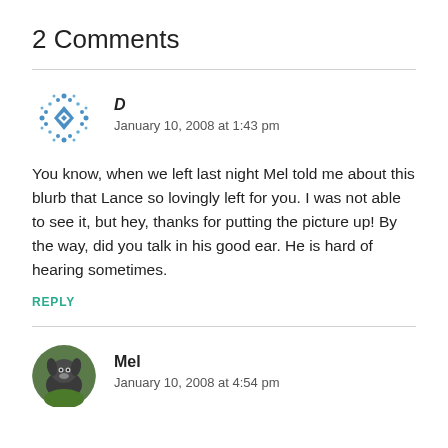2 Comments
[Figure (illustration): Blue geometric identicon avatar for user D]
D
January 10, 2008 at 1:43 pm
You know, when we left last night Mel told me about this blurb that Lance so lovingly left for you. I was not able to see it, but hey, thanks for putting the picture up! By the way, did you talk in his good ear. He is hard of hearing sometimes.
REPLY
[Figure (photo): Circular photo avatar showing a dog, for user Mel]
Mel
January 10, 2008 at 4:54 pm